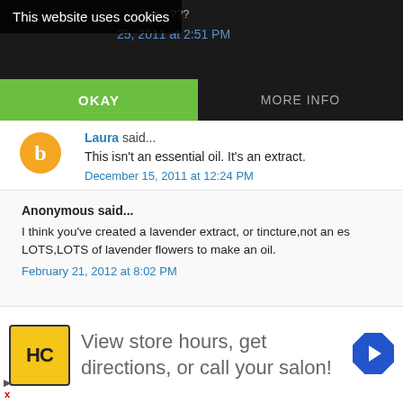This website uses cookies
top...???
25, 2011 at 2:51 PM
OKAY
MORE INFO
Laura said...
This isn't an essential oil. It's an extract.
December 15, 2011 at 12:24 PM
Anonymous said...
I think you've created a lavender extract, or tincture,not an es LOTS,LOTS of lavender flowers to make an oil.
February 21, 2012 at 8:02 PM
[Figure (screenshot): Twitter share button (blue background with white bird icon)]
[Figure (screenshot): Facebook share button (dark blue background with white f icon)]
ally prod
[Figure (logo): HC logo in yellow circle with black border; navigation arrow icon]
View store hours, get directions, or call your salon!